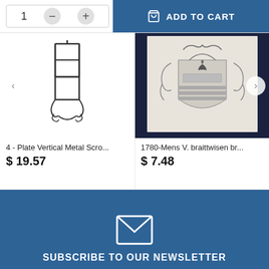[Figure (screenshot): Add to cart UI: quantity selector with minus/plus buttons and blue ADD TO CART button with shopping bag icon]
[Figure (photo): 4-Plate Vertical Metal Scroll wrought iron lantern holder product image on white background]
4 - Plate Vertical Metal Scro...
$ 19.57
[Figure (photo): 1780-Mens V. braittwisen coat of arms heraldic print framed in dark navy background]
1780-Mens V. braittwisen br...
$ 7.48
[Figure (infographic): Email/envelope icon in white on blue background for newsletter subscription section]
SUBSCRIBE TO OUR NEWSLETTER
Get all the latest information on Events, Sales and Offers.